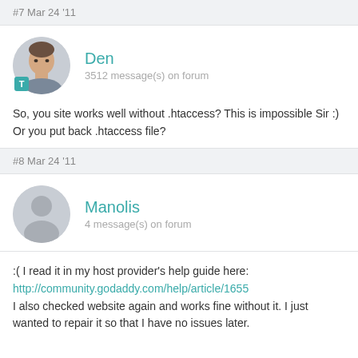#7 Mar 24 '11
Den
3512 message(s) on forum
So, you site works well without .htaccess? This is impossible Sir :) Or you put back .htaccess file?
#8 Mar 24 '11
Manolis
4 message(s) on forum
:( I read it in my host provider's help guide here:
http://community.godaddy.com/help/article/1655
I also checked website again and works fine without it. I just wanted to repair it so that I have no issues later.